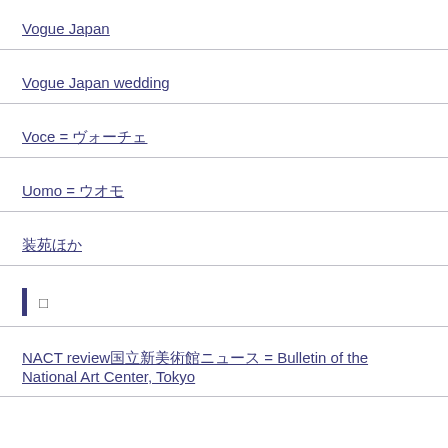Vogue Japan
Vogue Japan wedding
Voce = ヴォーチェ
Uomo = ウオモ
装苑ほか
| □
NACT review国立新美術館ニュース = Bulletin of the National Art Center, Tokyo